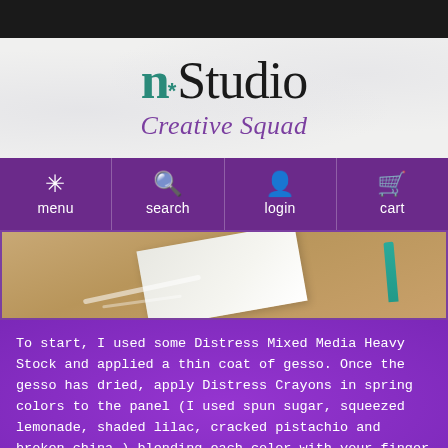[Figure (screenshot): n*Studio Creative Squad website header with teal and black logo text]
[Figure (photo): Photo of a wooden table with white paper and teal crayon, showing gesso application]
To start, I used some Distress Mixed Media Heavy Stock and applied a thin coat of gesso. Once the gesso has dried, apply Distress Crayons in spring colors to the panel (I used spun sugar, squeezed lemonade, shaded lilac, cracked pistachio and broken china ) blending each color with your finger as you go along.